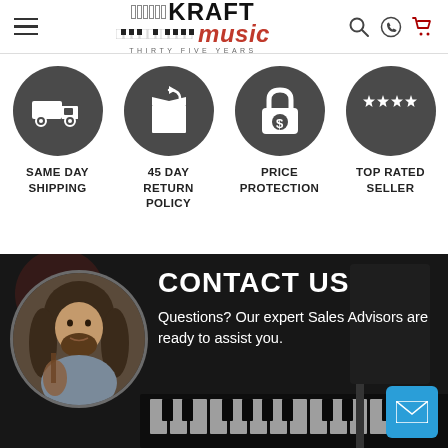[Figure (screenshot): Kraft Music website header with hamburger menu, logo (KRAFT music THIRTY FIVE YEARS), search icon, phone icon, and cart icon]
[Figure (infographic): Four feature icons in dark circles: truck (SAME DAY SHIPPING), box with arrow (45 DAY RETURN POLICY), padlock with dollar sign (PRICE PROTECTION), stars (TOP RATED SELLER)]
SAME DAY SHIPPING
45 DAY RETURN POLICY
PRICE PROTECTION
TOP RATED SELLER
[Figure (photo): Contact Us section with dark background showing piano keyboard, circular photo of a male Sales Advisor with long hair holding a guitar, CONTACT US heading, and text: Questions? Our expert Sales Advisors are ready to assist you. Blue email button in bottom right corner.]
CONTACT US
Questions? Our expert Sales Advisors are ready to assist you.